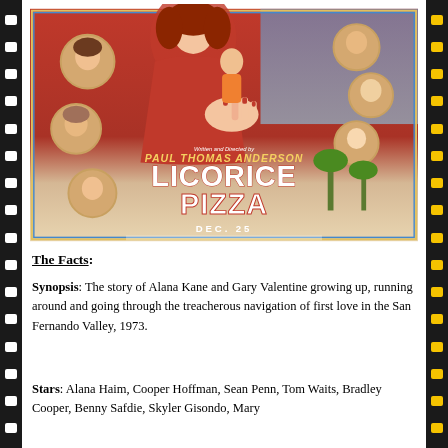[Figure (illustration): Movie poster for 'Licorice Pizza' directed and written by Paul Thomas Anderson. Features illustrated characters including a woman in red dress as central figure, surrounded by circular vignettes of other cast members. The title 'LICORICE PIZZA' appears in large white bold text, with 'DEC. 25' release date at the bottom. Film strip border decorates both sides of the page.]
The Facts:
Synopsis: The story of Alana Kane and Gary Valentine growing up, running around and going through the treacherous navigation of first love in the San Fernando Valley, 1973.
Stars: Alana Haim, Cooper Hoffman, Sean Penn, Tom Waits, Bradley Cooper, Benny Safdie, Skyler Gisondo, Mary